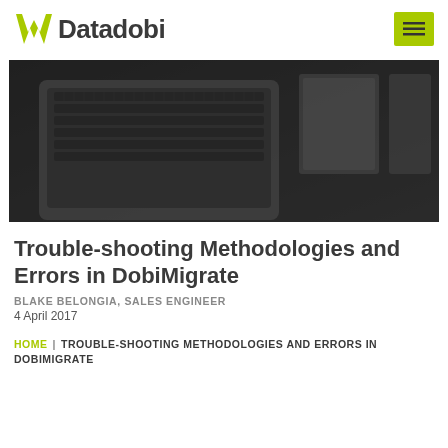Datadobi
[Figure (photo): Dark-toned overhead photo of a laptop keyboard, notebook and tablet on a wooden desk]
Trouble-shooting Methodologies and Errors in DobiMigrate
BLAKE BELONGIA, SALES ENGINEER
4 April 2017
HOME | TROUBLE-SHOOTING METHODOLOGIES AND ERRORS IN DOBIMIGRATE